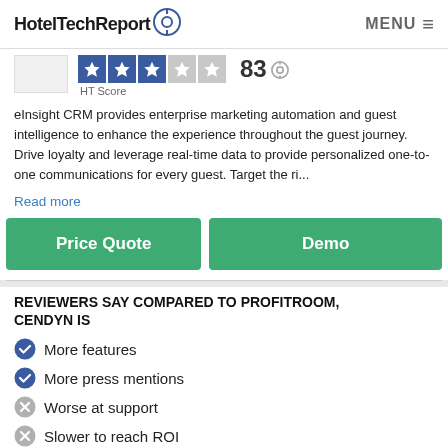HotelTechReport  MENU ≡
83 HT Score
eInsight CRM provides enterprise marketing automation and guest intelligence to enhance the experience throughout the guest journey. Drive loyalty and leverage real-time data to provide personalized one-to-one communications for every guest. Target the ri...
Read more
Price Quote
Demo
REVIEWERS SAY COMPARED TO PROFITROOM, CENDYN IS
More features
More press mentions
Worse at support
Slower to reach ROI
Harder to use